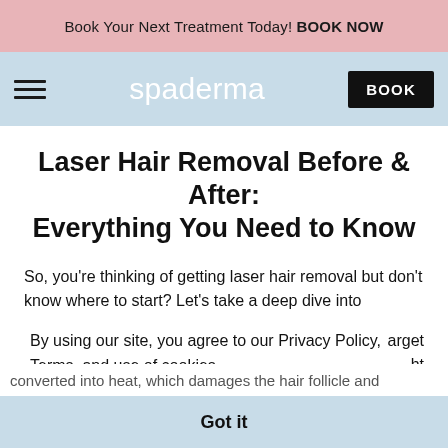Book Your Next Treatment Today! BOOK NOW
spaderma BOOK
Laser Hair Removal Before & After: Everything You Need to Know
So, you're thinking of getting laser hair removal but don't know where to start? Let's take a deep dive into
By using our site, you agree to our Privacy Policy, Terms, and use of cookies.
Learn more
arget ht and and
converted into heat, which damages the hair follicle and
Got it